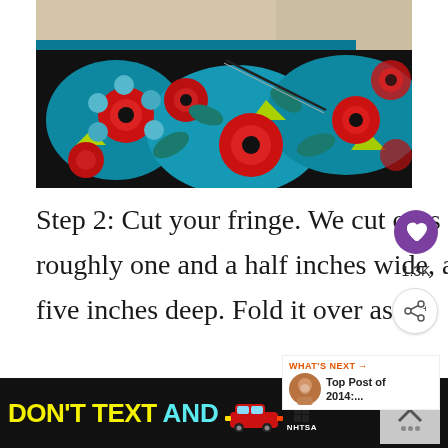[Figure (photo): Close-up photo of colorful floral patterned fabric (red, blue, black, yellow-green flowers and petals) laid over a textured beige surface, with scissors partially visible cutting the fabric.]
Step 2: Cut your fringe. We cut ours roughly one and a half inches wide, and five inches deep. Fold it over as y
[Figure (infographic): WHAT'S NEXT arrow label with thumbnail image and text 'Top Post of 2014:...']
[Figure (infographic): Advertisement banner: DON'T TEXT AND [car image] with NHTSA branding and ad badge and close buttons]